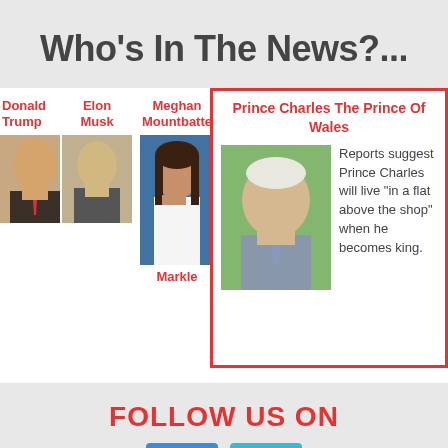Who's In The News?...
[Figure (photo): Carousel of news personalities: Donald Trump (left, clipped), Elon Musk, Meghan Mountbatten Markle, Prince Charles highlighted card, Donald Trump (right, clipped)]
Prince Charles The Prince Of Wales
Reports suggest Prince Charles will live "in a flat above the shop" when he becomes king.
FOLLOW US ON